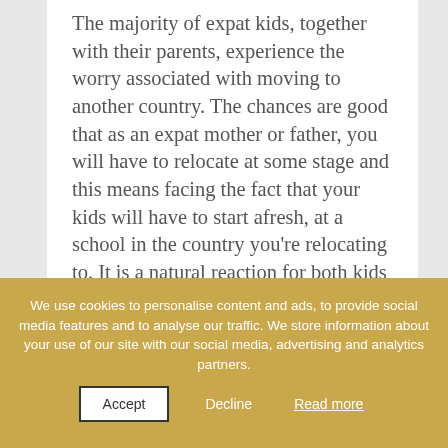The majority of expat kids, together with their parents, experience the worry associated with moving to another country. The chances are good that as an expat mother or father, you will have to relocate at some stage and this means facing the fact that your kids will have to start afresh, at a school in the country you're relocating to. It is a natural reaction for both kids and their mum to
We use cookies to personalise content and ads, to provide social media features and to analyse our traffic. We store information about your use of our site with our social media, advertising and analytics partners.